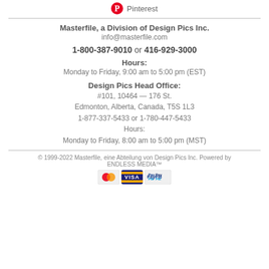[Figure (logo): Pinterest logo icon (red P in circle) with text 'Pinterest']
Masterfile, a Division of Design Pics Inc.
info@masterfile.com
1-800-387-9010 or 416-929-3000
Hours:
Monday to Friday, 9:00 am to 5:00 pm (EST)
Design Pics Head Office:
#101, 10464 — 176 St.
Edmonton, Alberta, Canada, T5S 1L3
1-877-337-5433 or 1-780-447-5433
Hours:
Monday to Friday, 8:00 am to 5:00 pm (MST)
© 1999-2022 Masterfile, eine Abteilung von Design Pics Inc. Powered by ENDLESS MEDIA™
[Figure (logo): Payment method logos: Mastercard, Visa, PayPal]